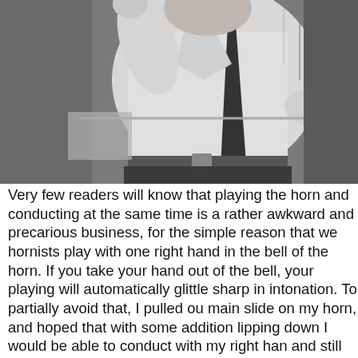[Figure (photo): Black and white photograph of a man in a white dress shirt and dark tie conducting with his right arm raised, visible from the waist up. He appears to be mid-gesture.]
Very few readers will know that playing the horn and conducting at the same time is a rather awkward and precarious business, for the simple reason that we hornists play with one right hand in the bell of the horn. If you take your hand out of the bell, your playing will automatically go a little sharp in intonation. To partially avoid that, I pulled out the main slide on my horn, and hoped that with some additional lipping down I would be able to conduct with my right hand and still play in tune. [Pictured above: Gunther Schuller]